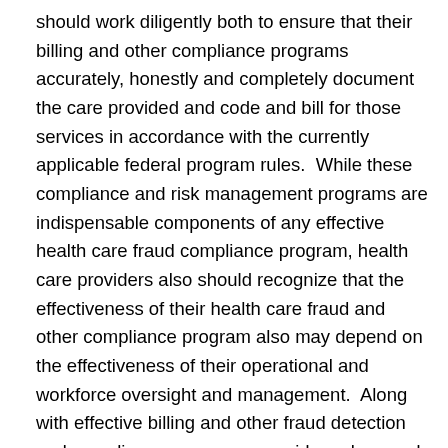should work diligently both to ensure that their billing and other compliance programs accurately, honestly and completely document the care provided and code and bill for those services in accordance with the currently applicable federal program rules.  While these compliance and risk management programs are indispensable components of any effective health care fraud compliance program, health care providers also should recognize that the effectiveness of their health care fraud and other compliance program also may depend on the effectiveness of their operational and workforce oversight and management.  Along with effective billing and other fraud detection and compliance programs, providers also need effective medical quality and records documentation, provider and workforce performance and management, investigations and other management programs.